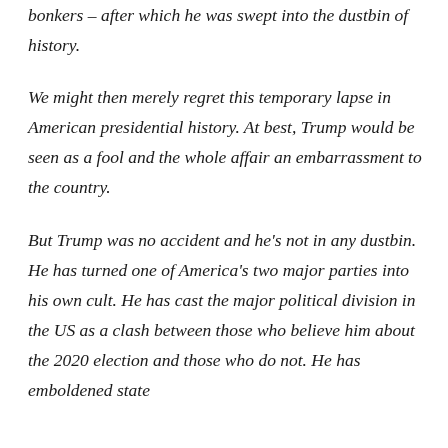bonkers – after which he was swept into the dustbin of history.
We might then merely regret this temporary lapse in American presidential history. At best, Trump would be seen as a fool and the whole affair an embarrassment to the country.
But Trump was no accident and he's not in any dustbin. He has turned one of America's two major parties into his own cult. He has cast the major political division in the US as a clash between those who believe him about the 2020 election and those who do not. He has emboldened state